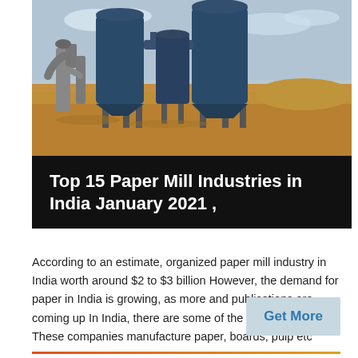[Figure (photo): Industrial paper mill facility with large blue cylindrical silos/storage tanks and industrial equipment on a dusty red-earth ground with a partly cloudy sky in the background.]
Top 15 Paper Mill Industries in India January 2021 ,
According to an estimate, organized paper mill industry in India worth around $2 to $3 billion However, the demand for paper in India is growing, as more and publications are coming up In India, there are some of the best paper mills These companies manufacture paper, boards, pulp etc
Get More